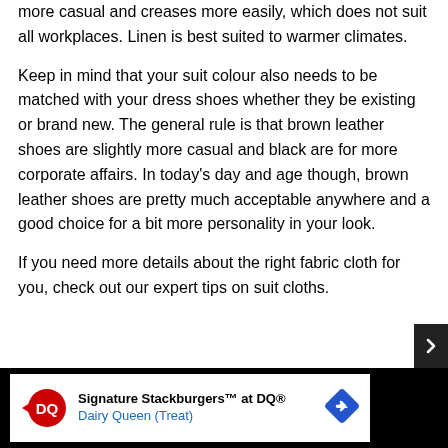more casual and creases more easily, which does not suit all workplaces. Linen is best suited to warmer climates.
Keep in mind that your suit colour also needs to be matched with your dress shoes whether they be existing or brand new. The general rule is that brown leather shoes are slightly more casual and black are for more corporate affairs. In today's day and age though, brown leather shoes are pretty much acceptable anywhere and a good choice for a bit more personality in your look.
If you need more details about the right fabric cloth for you, check out our expert tips on suit cloths.
[Figure (other): Dairy Queen advertisement banner: Signature Stackburgers at DQ® Dairy Queen (Treat)]